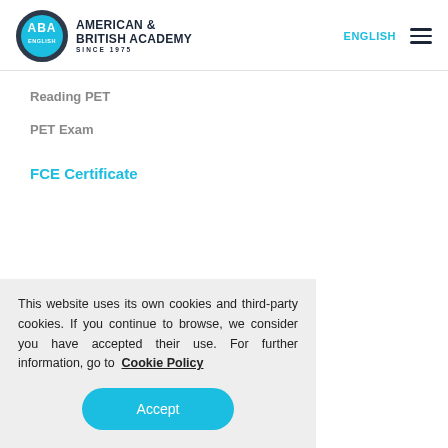[Figure (logo): ABA English - American & British Academy Since 1975 logo with circular emblem]
ENGLISH
Reading PET
PET Exam
FCE Certificate
This website uses its own cookies and third-party cookies. If you continue to browse, we consider you have accepted their use. For further information, go to Cookie Policy
Accept